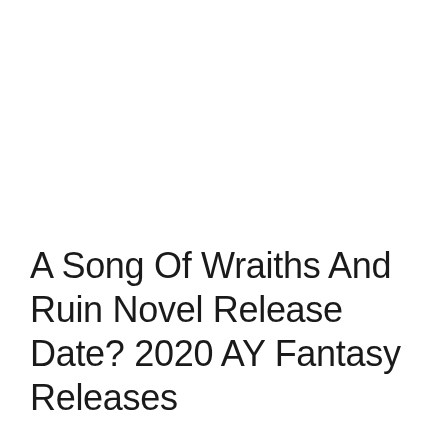A Song Of Wraiths And Ruin Novel Release Date? 2020 AY Fantasy Releases